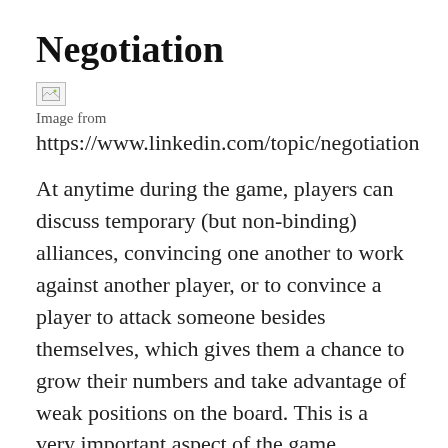Negotiation
[Figure (photo): Broken image placeholder with caption: Image from https://www.linkedin.com/topic/negotiation]
At anytime during the game, players can discuss temporary (but non-binding) alliances, convincing one another to work against another player, or to convince a player to attack someone besides themselves, which gives them a chance to grow their numbers and take advantage of weak positions on the board. This is a very important aspect of the game. Without negotiation, the game would grow stale quickly. Simply attacking other players, making optimal movies, and hoping for the best